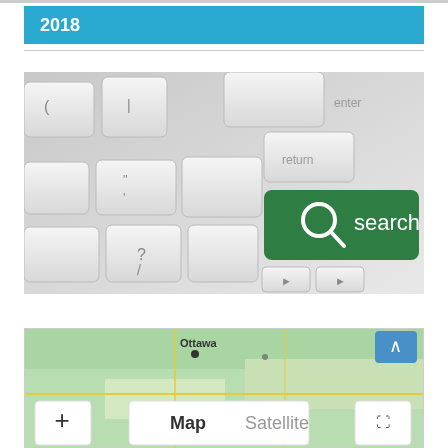2018
[Figure (photo): Close-up photograph of a keyboard with a green 'search' key featuring a magnifying glass icon, surrounded by white/grey keyboard keys labeled with 'enter' and 'return' visible.]
[Figure (screenshot): Partial screenshot of a Google Maps interface showing an aerial/map view of the Ottawa area, with Map and Satellite toggle buttons, a zoom-in (+) button, and a fullscreen button visible at the bottom.]